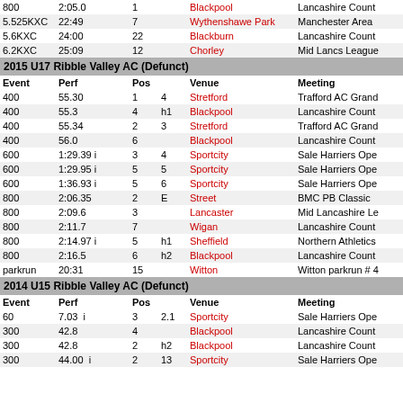| Event | Perf | Pos |  | Venue | Meeting |
| --- | --- | --- | --- | --- | --- |
| 800 | 2:05.0 | 1 |  | Blackpool | Lancashire Count |
| 5.525KXC | 22:49 | 7 |  | Wythenshawe Park | Manchester Area |
| 5.6KXC | 24:00 | 22 |  | Blackburn | Lancashire Count |
| 6.2KXC | 25:09 | 12 |  | Chorley | Mid Lancs League |
| 2015 U17 Ribble Valley AC (Defunct) |  |  |  |  |  |
| Event | Perf | Pos |  | Venue | Meeting |
| 400 | 55.30 | 1 | 4 | Stretford | Trafford AC Grand |
| 400 | 55.3 | 4 | h1 | Blackpool | Lancashire Count |
| 400 | 55.34 | 2 | 3 | Stretford | Trafford AC Grand |
| 400 | 56.0 | 6 |  | Blackpool | Lancashire Count |
| 600 | 1:29.39 i | 3 | 4 | Sportcity | Sale Harriers Ope |
| 600 | 1:29.95 i | 5 | 5 | Sportcity | Sale Harriers Ope |
| 600 | 1:36.93 i | 5 | 6 | Sportcity | Sale Harriers Ope |
| 800 | 2:06.35 | 2 | E | Street | BMC PB Classic |
| 800 | 2:09.6 | 3 |  | Lancaster | Mid Lancashire Le |
| 800 | 2:11.7 | 7 |  | Wigan | Lancashire Count |
| 800 | 2:14.97 i | 5 | h1 | Sheffield | Northern Athletics |
| 800 | 2:16.5 | 6 | h2 | Blackpool | Lancashire Count |
| parkrun | 20:31 | 15 |  | Witton | Witton parkrun # 4 |
| 2014 U15 Ribble Valley AC (Defunct) |  |  |  |  |  |
| Event | Perf | Pos |  | Venue | Meeting |
| 60 | 7.03  i | 3 | 2.1 | Sportcity | Sale Harriers Ope |
| 300 | 42.8 | 4 |  | Blackpool | Lancashire Count |
| 300 | 42.8 | 2 | h2 | Blackpool | Lancashire Count |
| 300 | 44.00  i | 2 | 13 | Sportcity | Sale Harriers Ope |